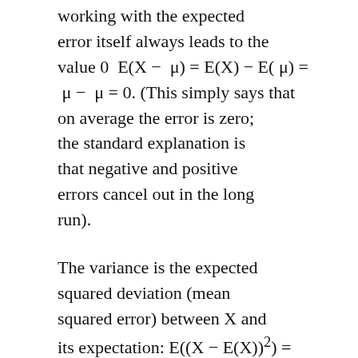working with the expected error itself always leads to the value 0  E(X −  μ) = E(X) − E( μ) =  μ −  μ = 0. (This simply says that on average the error is zero; the standard explanation is that negative and positive errors cancel out in the long run).
The variance is the expected squared deviation (mean squared error) between X and its expectation: E((X − E(X))²) = E(X −  μ)²), and the symbol for the population value is σ².
Some examples of variances (remember we are talking